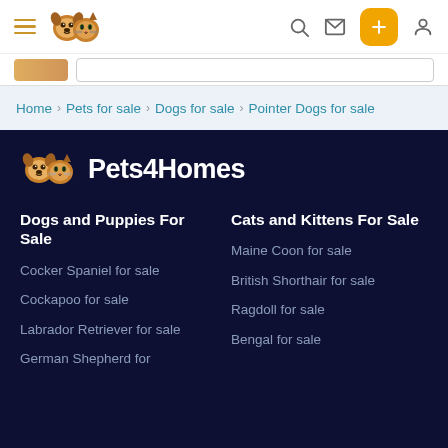Pets4Homes navigation bar with hamburger menu, logo, search, mail, add, and user icons
Search bar area with partial image
Home > Pets for sale > Dogs for sale > Pointer Dogs for sale
[Figure (logo): Pets4Homes logo with dog and cat faces icon and bold Pets4Homes text on dark navy background]
Dogs and Puppies For Sale
Cocker Spaniel for sale
Cockapoo for sale
Labrador Retriever for sale
German Shepherd for
Cats and Kittens For Sale
Maine Coon for sale
British Shorthair for sale
Ragdoll for sale
Bengal for sale